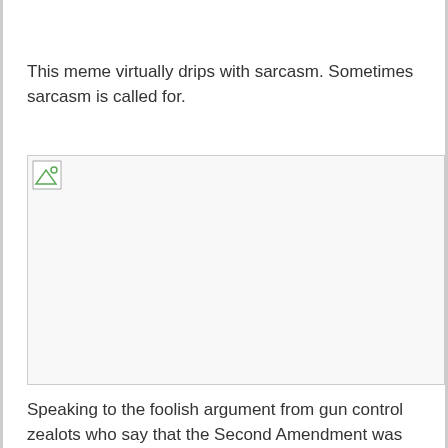This meme virtually drips with sarcasm. Sometimes sarcasm is called for.
[Figure (illustration): Broken/missing image placeholder with a small broken image icon in the top-left corner and a horizontal line at the top.]
Speaking to the foolish argument from gun control zealots who say that the Second Amendment was